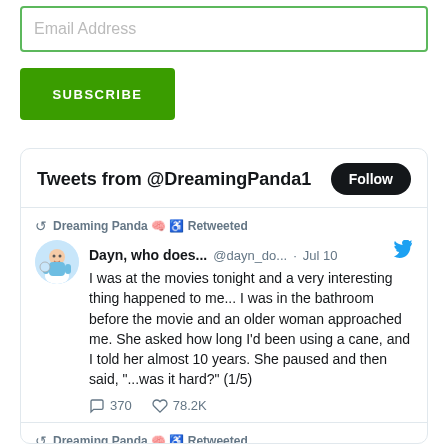Email Address
SUBSCRIBE
Tweets from @DreamingPanda1  Follow
Dreaming Panda 🧠 ♿ Retweeted
Dayn, who does... @dayn_do... · Jul 10
I was at the movies tonight and a very interesting thing happened to me... I was in the bathroom before the movie and an older woman approached me. She asked how long I'd been using a cane, and I told her almost 10 years. She paused and then said, "...was it hard?" (1/5)
370  78.2K
Dreaming Panda 🧠 ♿ Retweeted